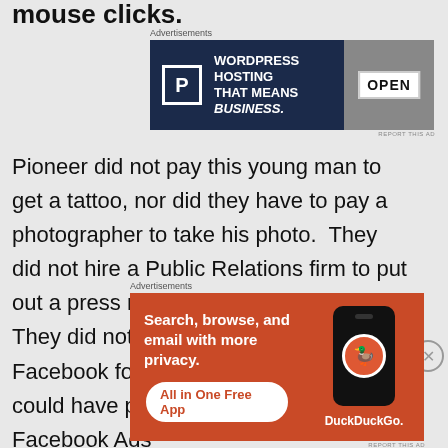mouse clicks.
Advertisements
[Figure (screenshot): Advertisement banner for WordPress Hosting: dark navy background with P icon, text 'WORDPRESS HOSTING THAT MEANS BUSINESS.' and an OPEN sign photo on the right.]
Pioneer did not pay this young man to get a tattoo, nor did they have to pay a photographer to take his photo.  They did not hire a Public Relations firm to put out a press release on a wire service.  They did not host a photo contest on Facebook for the craziest tattoo. They could have promoted this post or used Facebook Ads
Advertisements
[Figure (screenshot): Advertisement banner for DuckDuckGo app: orange/red background with text 'Search, browse, and email with more privacy. All in One Free App' and DuckDuckGo logo/phone on the right.]